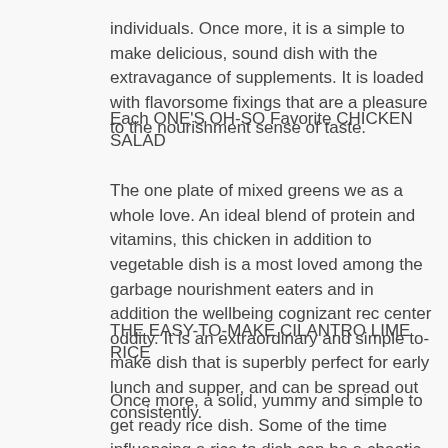individuals. Once more, it is a simple to make delicious, sound dish with the extravagance of supplements. It is loaded with flavorsome fixings that are a pleasure to the nourishment sense of taste.
Each ONE'S OH-SO Favorite CHICKEN SALAD
The one plate of mixed greens we as a whole love. An ideal blend of protein and vitamins, this chicken in addition to vegetable dish is a most loved among the garbage nourishment eaters and in addition the wellbeing cognizant rec center oddity. It is an extraordinary and simple to-make dish that is superbly perfect for early lunch and supper, and can be spread out consistently.
THE EASY-TO-MAKE CILANTRO LIME RICE
Once more, a solid, yummy and simple to get ready rice dish. Some of the time influencing a rice to dish can be a chaotic procedure in itself, however not this one. It's an ideal mix of flavor and supplements. It is the perfect